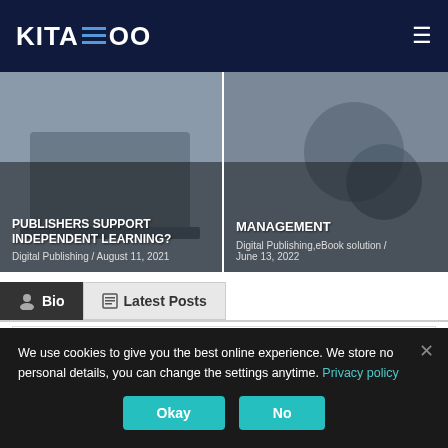KITABOO
[Figure (screenshot): Card showing 'PUBLISHERS SUPPORT INDEPENDENT LEARNING?' with Digital Publishing / August 11, 2021]
[Figure (screenshot): Card showing 'MANAGEMENT' with Digital Publishing,eBook solution / June 13, 2022]
Bio
Latest Posts
Mike Harman
Mike is the SVP Business Development at HurixDigital. He has over 30 years experience in achieving consistent top-line
We use cookies to give you the best online experience. We store no personal details, you can change the settings anytime. Privacy policy
Okay
No